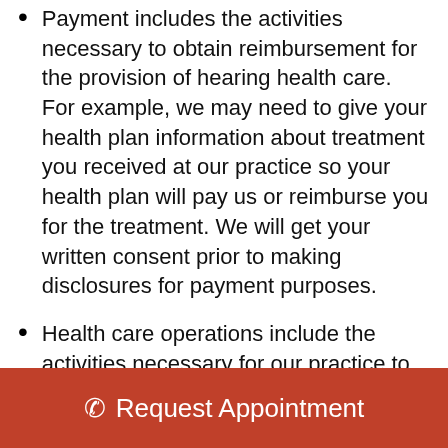Payment includes the activities necessary to obtain reimbursement for the provision of hearing health care. For example, we may need to give your health plan information about treatment you received at our practice so your health plan will pay us or reimburse you for the treatment. We will get your written consent prior to making disclosures for payment purposes.
Health care operations include the activities necessary for our practice to run its business operations. For example, we may use your information to review treatment and services and to evaluate
Request Appointment